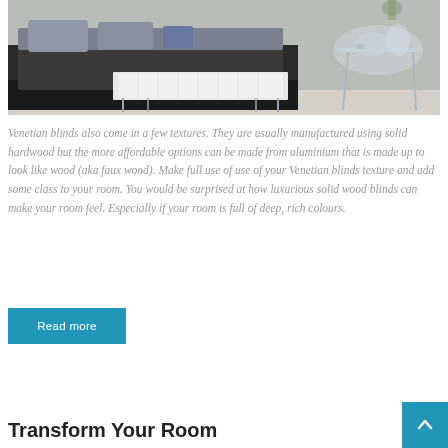[Figure (photo): A modern bedroom with dark charcoal bedding on a low bed, a white tufted bench at the foot of the bed with chrome legs, and a glass/acrylic side table with mirrored accessories in the background. The room has light grey walls.]
Venetian blinds also come in a few textures. They are usually manufactured using solid hardwood but the more affordable options can be made from aluminium that is made up to look like wood (aka faux wood). Make full use of use of your Venetian blinds texture and add some class to your room. You would be surprised at how luxurious solid wood blinds can make your room feel. Especially if your room is full of deep, rich colours.
Read more
Transform Your Room